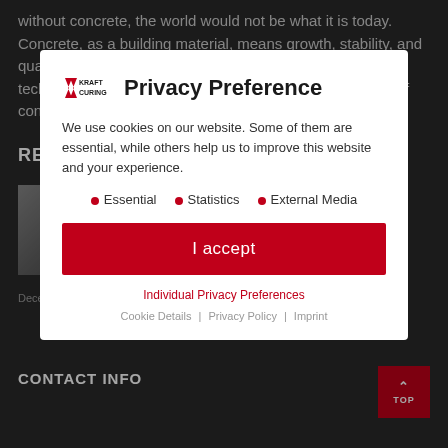without concrete, the world would not be what it is today. Concrete, as a building material, means growth, stability, and quality of life. We at KRAFT CURING supply curing technologies and equipment for the controlled hardening of concrete.
RE
[Figure (photo): Thumbnail image of concrete curing equipment]
Th ca
December 13, 2021
CONTACT INFO
[Figure (screenshot): Privacy Preference modal dialog overlay on top of the Kraft Curing website. Contains logo, title 'Privacy Preference', cookie consent text, Essential/Statistics/External Media options, I accept button, Individual Privacy Preferences link, and Cookie Details | Privacy Policy | Imprint footer links.]